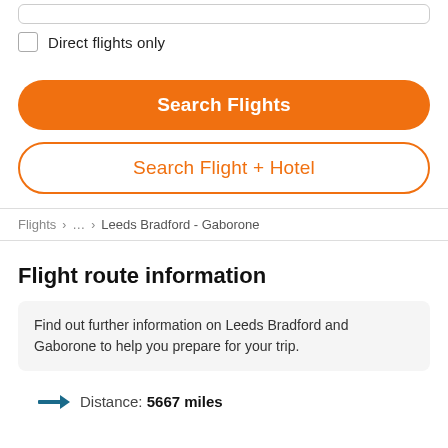Direct flights only
Search Flights
Search Flight + Hotel
Flights > ... > Leeds Bradford - Gaborone
Flight route information
Find out further information on Leeds Bradford and Gaborone to help you prepare for your trip.
Distance: 5667 miles